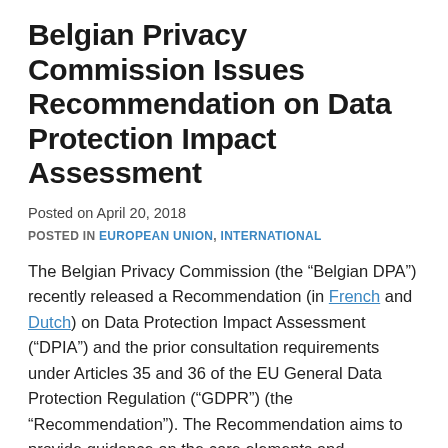Belgian Privacy Commission Issues Recommendation on Data Protection Impact Assessment
Posted on April 20, 2018
POSTED IN EUROPEAN UNION, INTERNATIONAL
The Belgian Privacy Commission (the “Belgian DPA”) recently released a Recommendation (in French and Dutch) on Data Protection Impact Assessment (“DPIA”) and the prior consultation requirements under Articles 35 and 36 of the EU General Data Protection Regulation (“GDPR”) (the “Recommendation”). The Recommendation aims to provide guidance on the core elements and requirements of a DPIA, the different actors involved and specific provisions